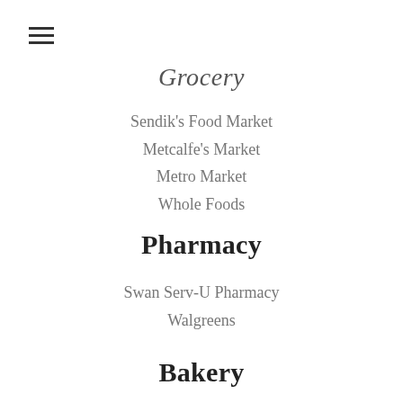Grocery
Sendik's Food Market
Metcalfe's Market
Metro Market
Whole Foods
Pharmacy
Swan Serv-U Pharmacy
Walgreens
Bakery